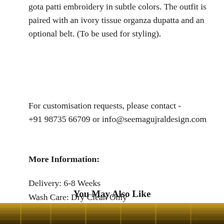gota patti embroidery in subtle colors. The outfit is paired with an ivory tissue organza dupatta and an optional belt. (To be used for styling).
For customisation requests, please contact - +91 98735 66709 or info@seemagujraldesign.com
More Information:
Delivery: 6-8 Weeks
Wash Care: Dry Clean Only
Style Number: SC 2054
You May Also Like
USD
[Figure (photo): Bottom strip showing a photo of embroidered garment in gold/brown tones]